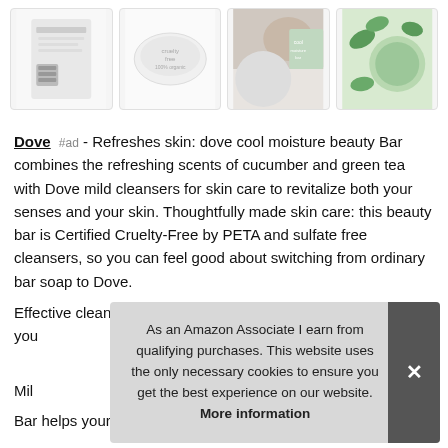[Figure (photo): Four product thumbnail images of Dove Cool Moisture Beauty Bar soap in a horizontal strip]
Dove #ad - Refreshes skin: dove cool moisture beauty Bar combines the refreshing scents of cucumber and green tea with Dove mild cleansers for skin care to revitalize both your senses and your skin. Thoughtfully made skin care: this beauty bar is Certified Cruelty-Free by PETA and sulfate free cleansers, so you can feel good about switching from ordinary bar soap to Dove.
Effective cleansing: wash away dirt and germs, without drying your
Mild
Bar helps your skin maintain its natural moisture barrier and
As an Amazon Associate I earn from qualifying purchases. This website uses the only necessary cookies to ensure you get the best experience on our website. More information